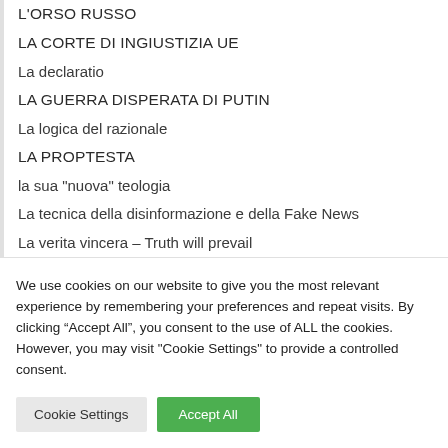L'ORSO RUSSO
LA CORTE DI INGIUSTIZIA UE
La declaratio
LA GUERRA DISPERATA DI PUTIN
La logica del razionale
LA PROPTESTA
la sua "nuova" teologia
La tecnica della disinformazione e della Fake News
La verita vincera – Truth will prevail
LE ARMI DI DISTRUZIONE DI MASSA
We use cookies on our website to give you the most relevant experience by remembering your preferences and repeat visits. By clicking “Accept All”, you consent to the use of ALL the cookies. However, you may visit "Cookie Settings" to provide a controlled consent.